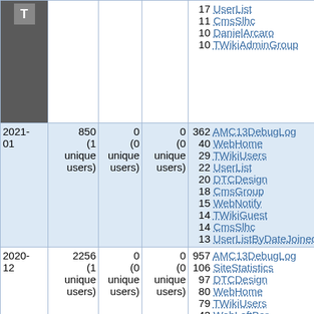|  | Views | Saves | Uploads | Top topics |
| --- | --- | --- | --- | --- |
|  |  |  |  | 17 UserList
11 CmsSlhc
10 DanielArcaro
10 TWikiAdminGroup |
| 2021-01 | 850 (1 unique users) | 0 (0 unique users) | 0 (0 unique users) | 362 AMC13DebugLog
40 WebHome
29 TWikiUsers
22 UserList
20 DTCDesign
18 CmsGroup
15 WebNotify
14 TWikiGuest
14 CmsSlhc
13 UserListByDateJoined |
| 2020-12 | 2256 (1 unique users) | 0 (0 unique users) | 0 (0 unique users) | 957 AMC13DebugLog
106 SiteStatistics
97 DTCDesign
80 WebHome
79 TWikiUsers
43 WebLeftBar
39 WebChanges
38 WebPreferences |